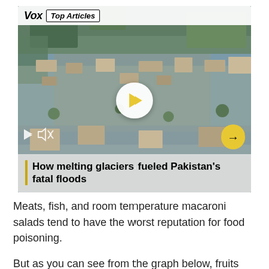[Figure (screenshot): Vox Top Articles video thumbnail showing aerial view of Pakistan floods with play button. Headline overlay: 'How melting glaciers fueled Pakistan's fatal floods']
Meats, fish, and room temperature macaroni salads tend to have the worst reputation for food poisoning.
But as you can see from the graph below, fruits and vegetables are also a huge problem, sickening more